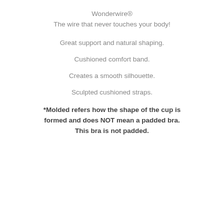Wonderwire®
The wire that never touches your body!
Great support and natural shaping.
Cushioned comfort band.
Creates a smooth silhouette.
Sculpted cushioned straps.
*Molded refers how the shape of the cup is formed and does NOT mean a padded bra. This bra is not padded.